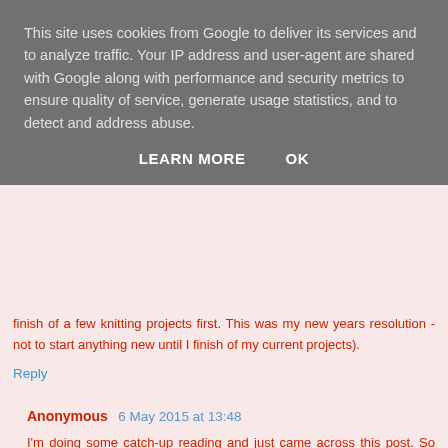This site uses cookies from Google to deliver its services and to analyze traffic. Your IP address and user-agent are shared with Google along with performance and security metrics to ensure quality of service, generate usage statistics, and to detect and address abuse.
LEARN MORE   OK
finish of a few knitting projects first. This was my new years resolution - not to start anything new until I finish of my current projects).
Reply
Anonymous  6 May 2015 at 13:48
I'm doing some catch-up reading and just came across this post. So funny! While you were posting this, I was working on my own rainbow in the form of a crocheted flower garland/bunting for my front door. I wasn't intending to make a rainbow, but seeing all the colors together made me so happy that I had to use them all! :) My next rainbow will be a rainbow-colored monster for my nephew, if I don't